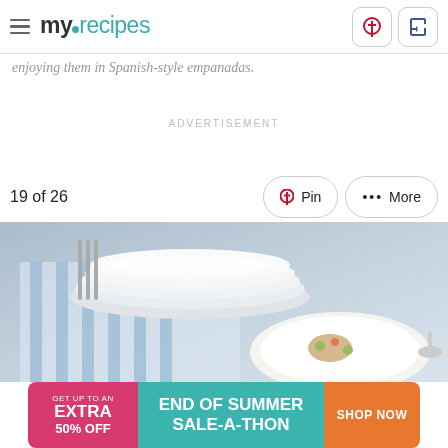myrecipes — Pinterest, Facebook social icons
enjoying them in Spanish-style empanadas.
ADVERTISEMENT
19 of 26
[Figure (photo): Stack of white plates with blue striped cloth and a plate of food on a blue background]
[Figure (infographic): Advertisement banner: GET UP TO AN EXTRA 50% OFF | END OF SUMMER SALE-A-THON | SHOP NOW]